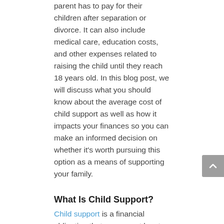parent has to pay for their children after separation or divorce. It can also include medical care, education costs, and other expenses related to raising the child until they reach 18 years old. In this blog post, we will discuss what you should know about the average cost of child support as well as how it impacts your finances so you can make an informed decision on whether it's worth pursuing this option as a means of supporting your family.
What Is Child Support?
Child support is a financial obligation that one parent has to pay for their children after separation or divorce. Child support is a legal requirement in all U.S. states and typically refers to regular cash payments, usually monthly, by one parent to another for the care and maintenance of their children following separation or divorce. Courts usually order these payments as part of an order or agreement made at the time of separation or divorce, but they can also be agreed upon voluntarily between parents without going through court proceedings. It's